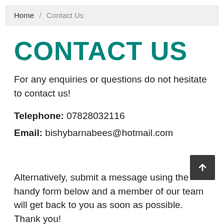Home / Contact Us
CONTACT US
For any enquiries or questions do not hesitate to contact us!
Telephone: 07828032116
Email: bishybarnabees@hotmail.com
Alternatively, submit a message using the handy form below and a member of our team will get back to you as soon as possible. Thank you!